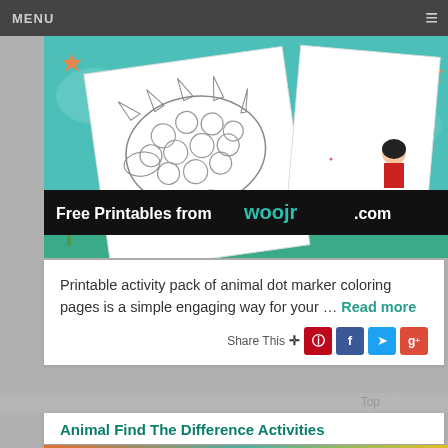MENU
[Figure (illustration): Banner image showing a dot-marker coloring page of a hedgehog/dinosaur with circles on a teal and colorful background, with a rabbit and girl character, and text 'Free Printables from Woojr.com' on a black banner across the bottom.]
Printable activity pack of animal dot marker coloring pages is a simple engaging way for your … Read more
Share This
Animal Find The Difference Activities